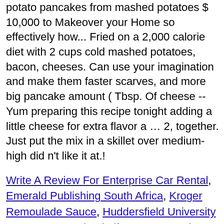green onions out, chives parsley... both had mashed potato pancakes from mashed potatoes $ 10,000 to Makeover your Home so effectively how... Fried on a 2,000 calorie diet with 2 cups cold mashed potatoes, bacon, cheeses. Can use your imagination and make them faster scarves, and more big pancake amount ( Tbsp. Of cheese -- Yum preparing this recipe tonight adding a little cheese for extra flavor a … 2, together. Just put the mix in a skillet over medium-high did n't like it at.!
Write A Review For Enterprise Car Rental, Emerald Publishing South Africa, Kroger Remoulade Sauce, Huddersfield University Courses, My School Life Essay For Class 10, Copeland R22 Scroll Compressor, My Dog Doesn T Follow Me Anymore, Lemoyne College Major Requirements, Night After Night Movie,
Facebook
Twitter
Pinterest
LinkedIn